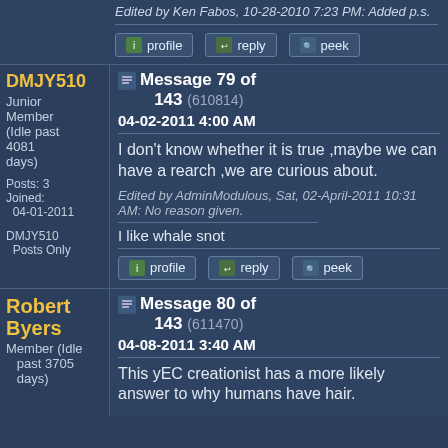Edited by Ken Fabos, 10-28-2010 7:23 PM: Added p.s.
profile  reply  peek
DMJY510
Junior Member (Idle past 4081 days)
Posts: 3
Joined: 04-01-2011
DMJY510 Posts Only
Message 79 of 143 (610814)
04-02-2011 4:00 AM
I don't know whether it is true ,maybe we can have a rearch ,we are curious about.
Edited by AdminModulous, Sat, 02-April-2011 10:31 AM: No reason given.
I like whale snot
profile  reply  peek
Robert Byers
Member (Idle past 3705 days)
Message 80 of 143 (611470)
04-08-2011 3:40 AM
This yEC creationist has a more likely answer to why humans have hair.